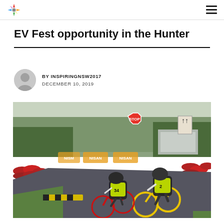InspiringNSW logo and navigation menu
EV Fest opportunity in the Hunter
BY INSPIRINGNSW2017
DECEMBER 10, 2019
[Figure (photo): Two cyclists wearing helmets and high-visibility vests riding bicycles on a racing circuit track. Red tyre barriers line the track edges, with trees and a building in the background. A stop sign is visible.]